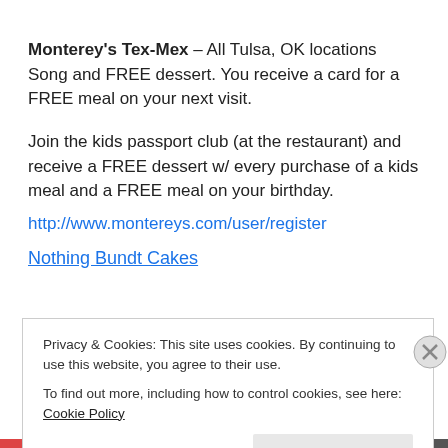Monterey's Tex-Mex – All Tulsa, OK locations Song and FREE dessert. You receive a card for a FREE meal on your next visit.
Join the kids passport club (at the restaurant) and receive a FREE dessert w/ every purchase of a kids meal and a FREE meal on your birthday.
http://www.montereys.com/user/register
Nothing Bundt Cakes
Privacy & Cookies: This site uses cookies. By continuing to use this website, you agree to their use.
To find out more, including how to control cookies, see here: Cookie Policy